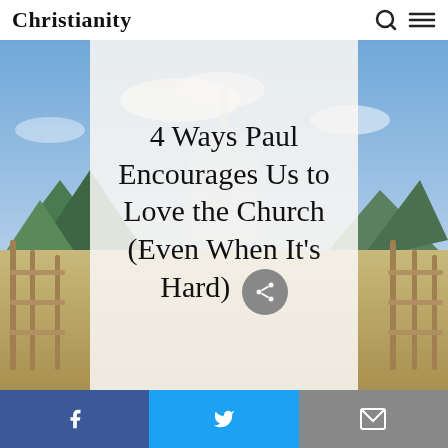Christianity
[Figure (photo): Outdoor landscape with a wooden fence in a dry field, mountains and sky in the background, with a white church building faintly visible in the center. A semi-transparent white overlay panel in the center displays the article title.]
4 Ways Paul Encourages Us to Love the Church (Even When It's Hard)
[Figure (infographic): Social sharing bar at the bottom with three buttons: Facebook (blue), Twitter (light blue), and Email (gray), each with their respective icons in white.]